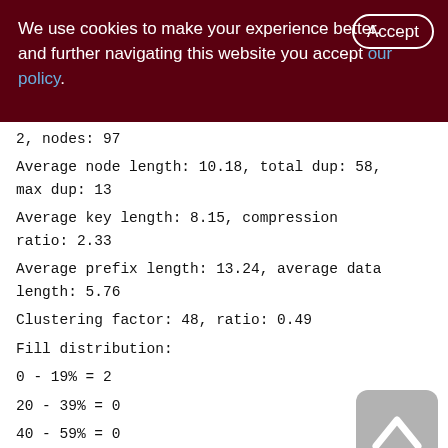We use cookies to make your experience better. By accepting and further navigating this website you accept our policy.
2, nodes: 97
Average node length: 10.18, total dup: 58, max dup: 13
Average key length: 8.15, compression ratio: 2.33
Average prefix length: 13.24, average data length: 5.76
Clustering factor: 48, ratio: 0.49
Fill distribution:
0 - 19% = 2
20 - 39% = 0
40 - 59% = 0
60 - 79% = 0